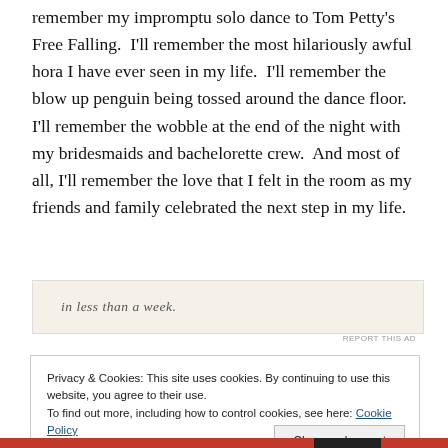remember my impromptu solo dance to Tom Petty's Free Falling.  I'll remember the most hilariously awful hora I have ever seen in my life.  I'll remember the blow up penguin being tossed around the dance floor.  I'll remember the wobble at the end of the night with my bridesmaids and bachelorette crew.  And most of all, I'll remember the love that I felt in the room as my friends and family celebrated the next step in my life.
[Figure (other): Partially visible advertisement banner with text 'in less than a week' and a 'REPORT THIS AD' label]
Privacy & Cookies: This site uses cookies. By continuing to use this website, you agree to their use.
To find out more, including how to control cookies, see here: Cookie Policy